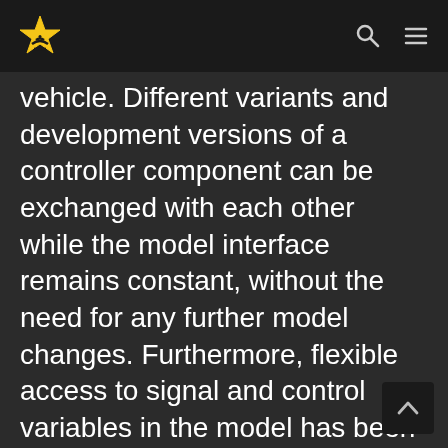[Logo: star icon] [search icon] [menu icon]
vehicle. Different variants and development versions of a controller component can be exchanged with each other while the model interface remains constant, without the need for any further model changes. Furthermore, flexible access to signal and control variables in the model has been simplified allowing to manipulate them dynamically during a test run.
Fremont Boulevard is one of the city's most well-traveled corridors and, as revealed in the 2015 Fremont Vision Zero Status Report and Action Plan, is a safety priority street, with 50% of the city's fatalities occurring on segments of the corridor.